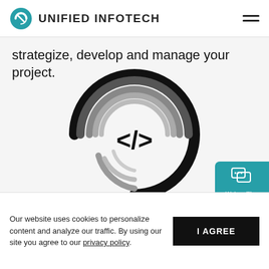UNIFIED INFOTECH
strategize, develop and manage your project.
[Figure (illustration): Concentric circular arc design in black and grey tones with a code symbol </> in the center, representing software development]
Our website uses cookies to personalize content and analyze our traffic. By using our site you agree to our privacy policy.